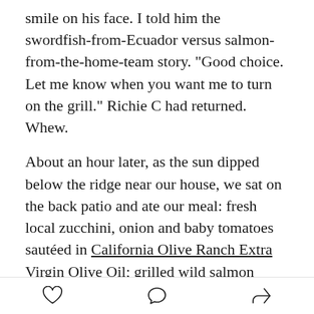smile on his face. I told him the swordfish-from-Ecuador versus salmon-from-the-home-team story. "Good choice. Let me know when you want me to turn on the grill." Richie C had returned. Whew.
About an hour later, as the sun dipped below the ridge near our house, we sat on the back patio and ate our meal: fresh local zucchini, onion and baby tomatoes sautéed in California Olive Ranch Extra Virgin Olive Oil; grilled wild salmon topped with yogurt sauce (made with fresh local-grown dill and fresh squeezed lemon juice from my sister Joni's tree); Sonoma County's Kendall-Jackson Chardonnay. "Is it just me or is this the best meal we've ever had," Don asked, which is just one more reason he's a keeper. "It's just you," I
[heart icon] [comment icon] [share icon]